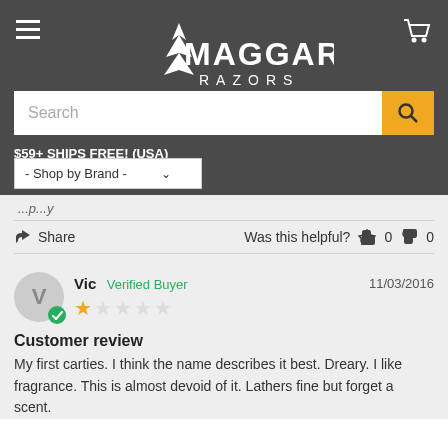[Figure (logo): Maggard Razors logo with maple leaf icon, white on dark gray background]
Search
$59+ SHIPS FREE! (USA)
- Shop by Brand -
Share   Was this helpful?  0  0
Vic  Verified Buyer   11/03/2016
Customer review
My first carties. I think the name describes it best. Dreary. I like fragrance. This is almost devoid of it. Lathers fine but forget a scent.